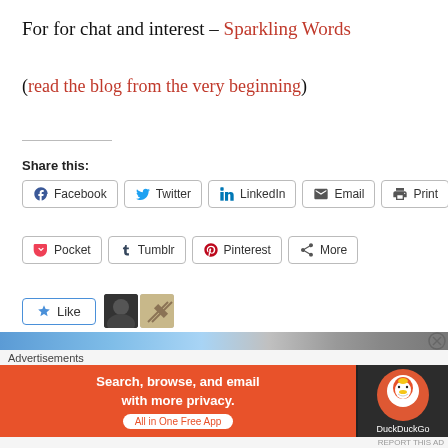For for chat and interest – Sparkling Words
(read the blog from the very beginning)
Share this:
[Figure (screenshot): Social share buttons row 1: Facebook, Twitter, LinkedIn, Email, Print]
[Figure (screenshot): Social share buttons row 2: Pocket, Tumblr, Pinterest, More]
[Figure (screenshot): Like button with star icon, two blogger avatars, and '2 bloggers like this.' text]
[Figure (screenshot): DuckDuckGo advertisement banner at bottom of page]